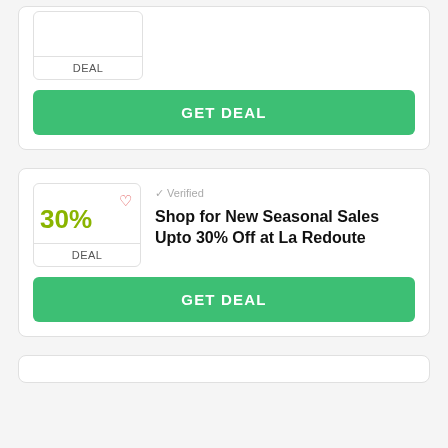[Figure (screenshot): Partial deal card at top showing a deal box with DEAL label and a GET DEAL green button]
DEAL
GET DEAL
[Figure (screenshot): Deal card showing 30% off badge with heart icon, Verified label, and title: Shop for New Seasonal Sales Upto 30% Off at La Redoute]
Verified
Shop for New Seasonal Sales Upto 30% Off at La Redoute
DEAL
GET DEAL